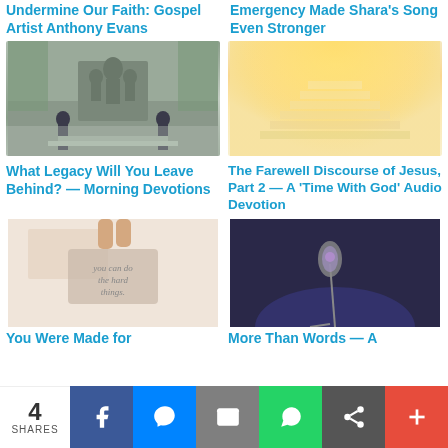Undermine Our Faith: Gospel Artist Anthony Evans
Emergency Made Shara’s Song Even Stronger
[Figure (photo): Two people standing before a statue of a family group on a pedestal, outdoors with green trees in background]
[Figure (photo): Bright glowing staircase ascending into a hazy golden light]
What Legacy Will You Leave Behind? — Morning Devotions
The Farewell Discourse of Jesus, Part 2 — A ‘Time With God’ Audio Devotion
[Figure (photo): Hands holding a small card that reads: You can do the hard things.]
[Figure (photo): A microphone on a stand lit with purple stage lighting]
You Were Made for
More Than Words — A
4 SHARES | Facebook | Messenger | Email | WhatsApp | Share | More